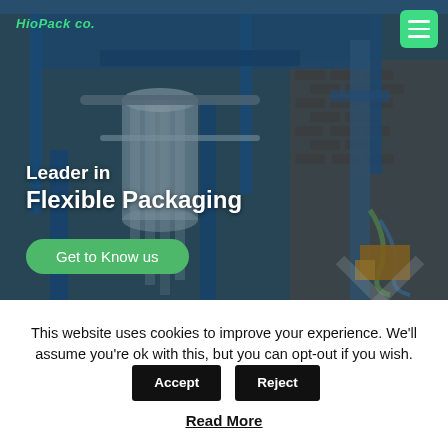[Figure (photo): Industrial flexible packaging machinery — large blue metal frame with rollers and transparent film/plastic sheets, factory interior background.]
HioPack co. [logo] | hamburger menu button
Leader in Flexible Packaging
Get to Know us
This website uses cookies to improve your experience. We'll assume you're ok with this, but you can opt-out if you wish.
Accept
Reject
Read More